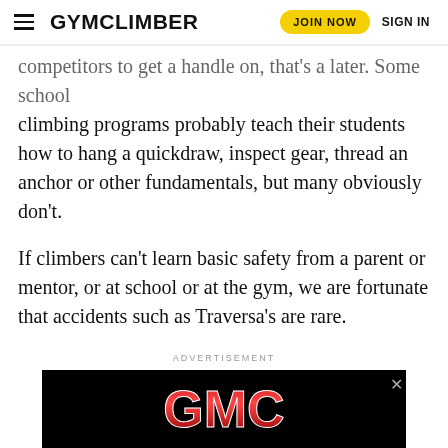GYMCLIMBER | JOIN NOW | SIGN IN
competitors to get a handle on, that's a later. Some school climbing programs probably teach their students how to hang a quickdraw, inspect gear, thread an anchor or other fundamentals, but many obviously don't.
If climbers can't learn basic safety from a parent or mentor, or at school or at the gym, we are fortunate that accidents such as Traversa's are rare.
ADVERTISEMENT
[Figure (logo): GMC logo on black background with a close button]